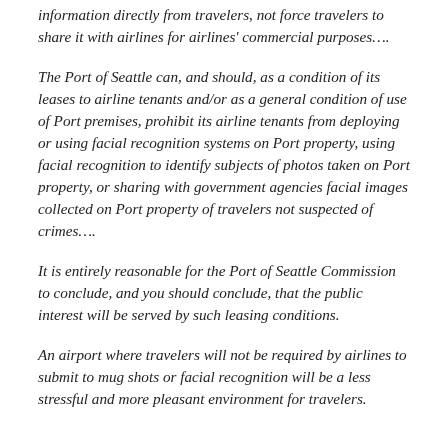information directly from travelers, not force travelers to share it with airlines for airlines' commercial purposes….
The Port of Seattle can, and should, as a condition of its leases to airline tenants and/or as a general condition of use of Port premises, prohibit its airline tenants from deploying or using facial recognition systems on Port property, using facial recognition to identify subjects of photos taken on Port property, or sharing with government agencies facial images collected on Port property of travelers not suspected of crimes….
It is entirely reasonable for the Port of Seattle Commission to conclude, and you should conclude, that the public interest will be served by such leasing conditions.
An airport where travelers will not be required by airlines to submit to mug shots or facial recognition will be a less stressful and more pleasant environment for travelers.